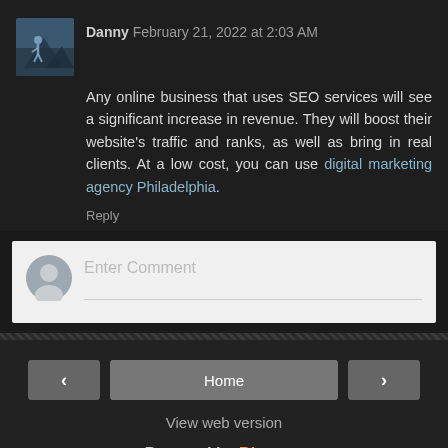Danny February 21, 2022 at 2:03 AM
Any online business that uses SEO services will see a significant increase in revenue. They will boost their website's traffic and ranks, as well as bring in real clients. At a low cost, you can use digital marketing agency Philadelphia.
Reply
Enter Comment
Home
View web version
Powered by Blogger.